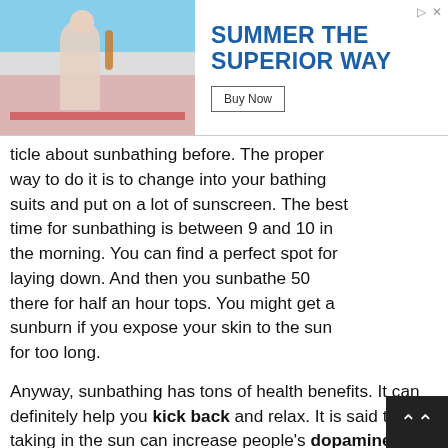[Figure (photo): Advertisement banner showing a person at a summer outdoor setting on the left, and text 'SUMMER THE SUPERIOR WAY' with a 'Buy Now' button on the right.]
ticle about sunbathing before. The proper way to do it is to change into your bathing suits and put on a lot of sunscreen. The best time for sunbathing is between 9 and 10 in the morning. You can find a perfect spot for laying down. And then you sunbathe 50 there for half an hour tops. You might get a sunburn if you expose your skin to the sun for too long.
Anyway, sunbathing has tons of health benefits. It can definitely help you kick back and relax. It is said that taking in the sun can increase people's dopamine level, which makes them happy and relaxed and reduces anxiety. Plus, sunlight helps us generate vitamin D, which is essential to our health.
So if I have the chance to spend my vacation by the sea, I'll definitely go sunbathing. Actually there's a coastal city Weihai, near my hometown. It is located in the